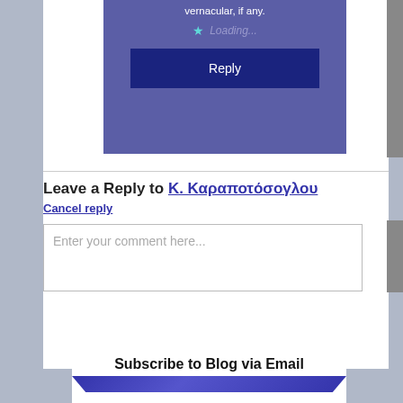vernacular, if any.
Loading...
Reply
Leave a Reply to Κ. Καραποτόσογλου
Cancel reply
Enter your comment here...
Subscribe to Blog via Email